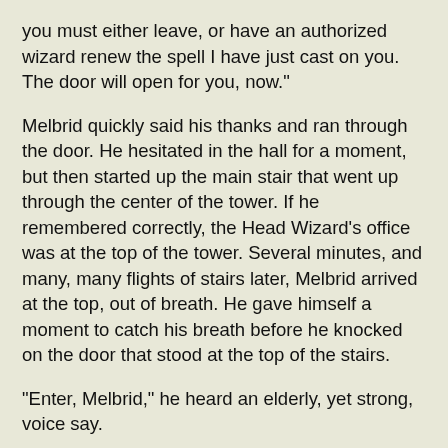you must either leave, or have an authorized wizard renew the spell I have just cast on you. The door will open for you, now."
Melbrid quickly said his thanks and ran through the door. He hesitated in the hall for a moment, but then started up the main stair that went up through the center of the tower. If he remembered correctly, the Head Wizard's office was at the top of the tower. Several minutes, and many, many flights of stairs later, Melbrid arrived at the top, out of breath. He gave himself a moment to catch his breath before he knocked on the door that stood at the top of the stairs.
"Enter, Melbrid," he heard an elderly, yet strong, voice say.
Melbrid nervously stepped forward and opened the door. He saw a man sitting behind a desk reading a thick tome. The man was obviously quite advanced in age, but exuded a powerful presence all the same. The man, without looking up, gestured for Melbrid to enter and take a seat.
Melbrid tried to exude confidence as he entered, but the